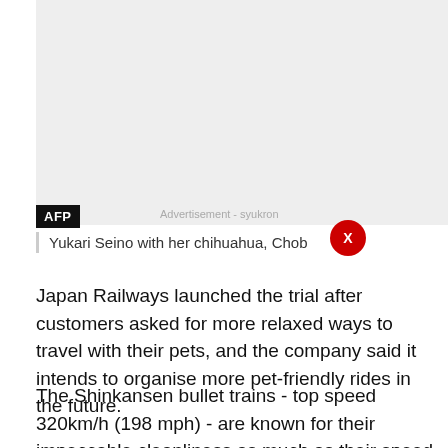[Figure (photo): Gray placeholder photo area for AFP image of Yukari Seino with her chihuahua]
Yukari Seino with her chihuahua, Chob
Japan Railways launched the trial after customers asked for more relaxed ways to travel with their pets, and the company said it intends to organise more pet-friendly rides in the future.
The Shinkansen bullet trains - top speed 320km/h (198 mph) - are known for their impeccable cleanliness as much as their speed and efficiency.